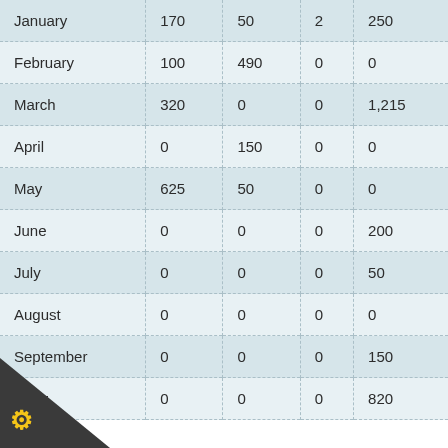| January | 170 | 50 | 2 | 250 |
| February | 100 | 490 | 0 | 0 |
| March | 320 | 0 | 0 | 1,215 |
| April | 0 | 150 | 0 | 0 |
| May | 625 | 50 | 0 | 0 |
| June | 0 | 0 | 0 | 200 |
| July | 0 | 0 | 0 | 50 |
| August | 0 | 0 | 0 | 0 |
| September | 0 | 0 | 0 | 150 |
| October | 0 | 0 | 0 | 820 |